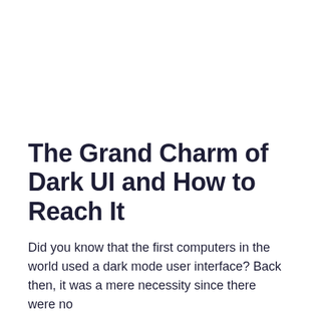The Grand Charm of Dark UI and How to Reach It
Did you know that the first computers in the world used a dark mode user interface? Back then, it was a mere necessity since there were no